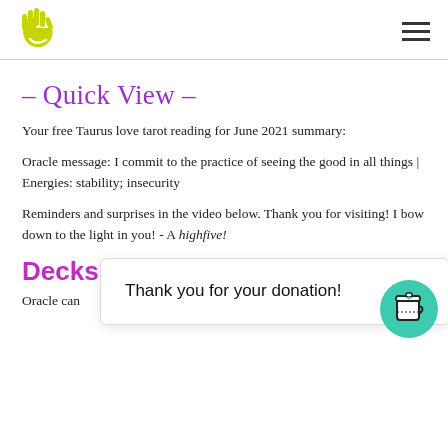[Logo: highfive hand / smiley icon] [Hamburger menu icon]
– Quick View –
Your free Taurus love tarot reading for June 2021 summary:
Oracle message: I commit to the practice of seeing the good in all things | Energies: stability; insecurity
Reminders and surprises in the video below. Thank you for visiting! I bow down to the light in you! - A highfive!
Decks
Oracle can                                            tion h    d.
Thank you for your donation!